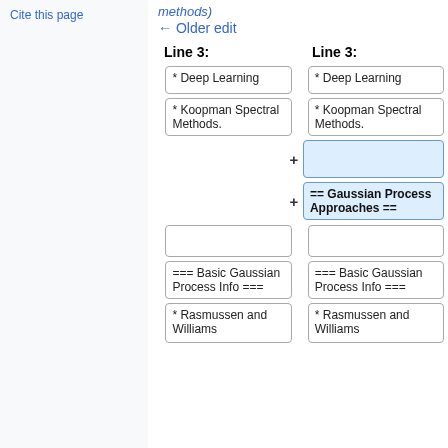Cite this page
methods)
← Older edit
Line 3:
Line 3:
* Deep Learning
* Deep Learning
* Koopman Spectral Methods.
* Koopman Spectral Methods.
+ (empty cell)
+ == Gaussian Process Approaches ==
(empty cells)
=== Basic Gaussian Process Info ===
=== Basic Gaussian Process Info ===
* Rasmussen and Williams
* Rasmussen and Williams